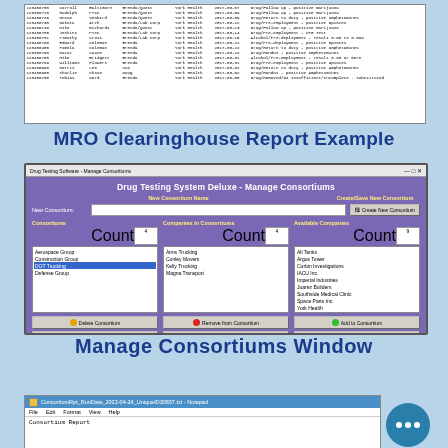[Figure (screenshot): MRO Clearinghouse Report spreadsheet showing drug test records with columns for IDs, names, employers, facilities, dates, and drug test results]
MRO Clearinghouse Report Example
[Figure (screenshot): Drug Testing System Deluxe - Manage Consortiums window showing consortium management interface with lists of consortiums, companies, and available companies]
Manage Consortiums Window
[Figure (screenshot): Notepad window showing ConsortiumRpt_RunDate_2022-04-24_UniqueID30837.txt with Consortium Report text]